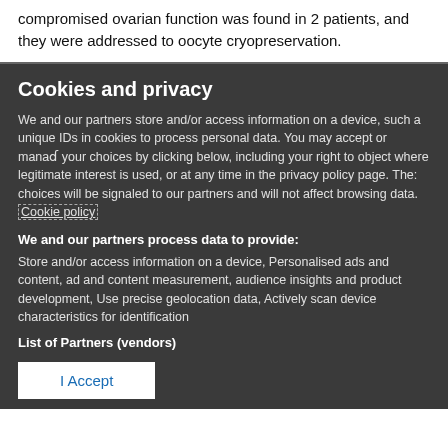compromised ovarian function was found in 2 patients, and they were addressed to oocyte cryopreservation.
Cookies and privacy
We and our partners store and/or access information on a device, such as unique IDs in cookies to process personal data. You may accept or manage your choices by clicking below, including your right to object where legitimate interest is used, or at any time in the privacy policy page. These choices will be signaled to our partners and will not affect browsing data. Cookie policy
We and our partners process data to provide:
Store and/or access information on a device, Personalised ads and content, ad and content measurement, audience insights and product development, Use precise geolocation data, Actively scan device characteristics for identification
List of Partners (vendors)
I Accept